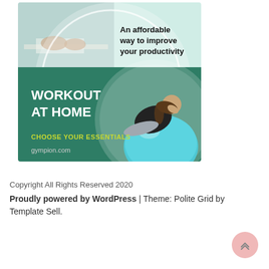[Figure (infographic): Promotional ad for gympion.com showing a 'Workout At Home' fitness advertisement. Top section has a person working at a desk with text 'An affordable way to improve your productivity' on a mint/green background. Bottom section is dark green with white bold text 'WORKOUT AT HOME', yellow-green text 'CHOOSE YOUR ESSENTIALS', gray text 'gympion.com', and a woman doing crunches on a blue exercise ball on the right side.]
Copyright All Rights Reserved 2020
Proudly powered by WordPress | Theme: Polite Grid by Template Sell.